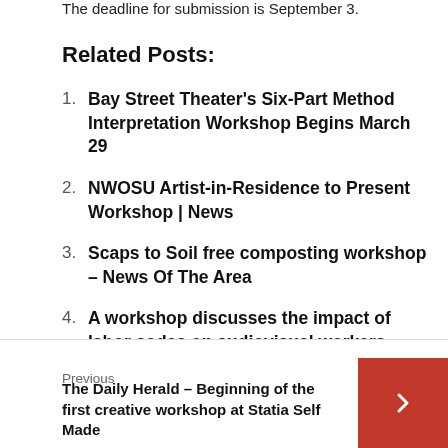The deadline for submission is September 3.
Related Posts:
Bay Street Theater's Six-Part Method Interpretation Workshop Begins March 29
NWOSU Artist-in-Residence to Present Workshop | News
Scaps to Soil free composting workshop – News Of The Area
A workshop discusses the impact of labor codes on audiovisual workers
Previous
The Daily Herald – Beginning of the first creative workshop at Statia Self Made